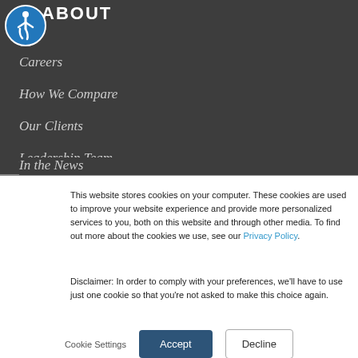ABOUT
[Figure (illustration): Circular accessibility icon — white figure in wheelchair-like pose on blue circle background]
Careers
How We Compare
Our Clients
Leadership Team
In the News
This website stores cookies on your computer. These cookies are used to improve your website experience and provide more personalized services to you, both on this website and through other media. To find out more about the cookies we use, see our Privacy Policy.
Disclaimer: In order to comply with your preferences, we'll have to use just one cookie so that you're not asked to make this choice again.
Cookie Settings  Accept  Decline